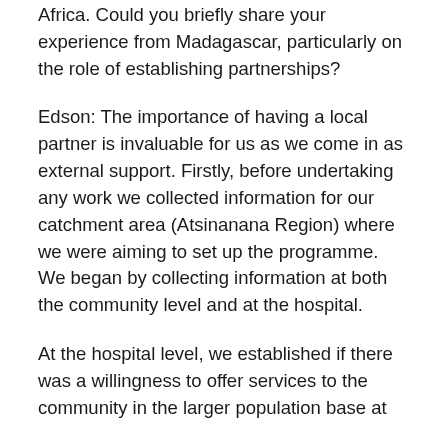Africa. Could you briefly share your experience from Madagascar, particularly on the role of establishing partnerships?
Edson: The importance of having a local partner is invaluable for us as we come in as external support. Firstly, before undertaking any work we collected information for our catchment area (Atsinanana Region) where we were aiming to set up the programme. We began by collecting information at both the community level and at the hospital.
At the hospital level, we established if there was a willingness to offer services to the community in the larger population base at